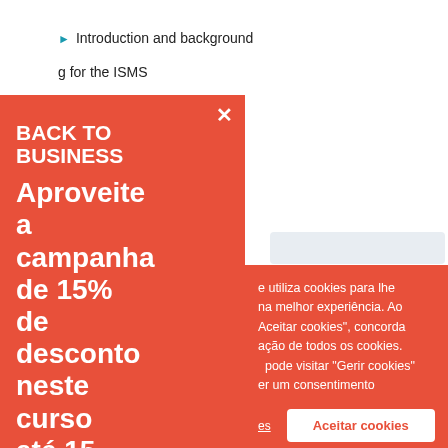Introduction and background
...g for the ISMS
...and Operating the ISMS
...(part 1)
...(part 2)
BACK TO BUSINESS
Aproveite a campanha de 15% de desconto neste curso até 15
e utiliza cookies para lhe na melhor experiência. Ao Aceitar cookies", concorda ação de todos os cookies. pode visitar "Gerir cookies" er um consentimento
Aceitar cookies